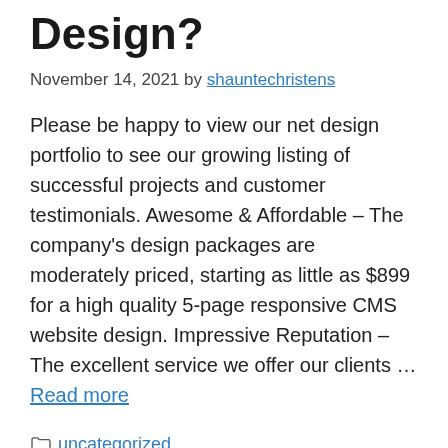Design?
November 14, 2021 by shauntechristens
Please be happy to view our net design portfolio to see our growing listing of successful projects and customer testimonials. Awesome & Affordable – The company's design packages are moderately priced, starting as little as $899 for a high quality 5-page responsive CMS website design. Impressive Reputation – The excellent service we offer our clients … Read more
uncategorized
projektowanie sklepów internetowych